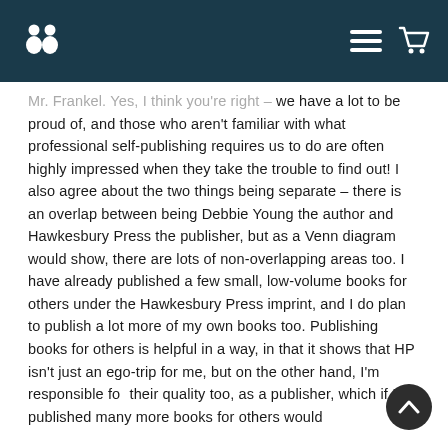[Navigation bar with logo, hamburger menu, and cart icon]
Mr. Frankel. Yes, I think you're right – we have a lot to be proud of, and those who aren't familiar with what professional self-publishing requires us to do are often highly impressed when they take the trouble to find out! I also agree about the two things being separate – there is an overlap between being Debbie Young the author and Hawkesbury Press the publisher, but as a Venn diagram would show, there are lots of non-overlapping areas too. I have already published a few small, low-volume books for others under the Hawkesbury Press imprint, and I do plan to publish a lot more of my own books too. Publishing books for others is helpful in a way, in that it shows that HP isn't just an ego-trip for me, but on the other hand, I'm responsible for their quality too, as a publisher, which if I published many more books for others would